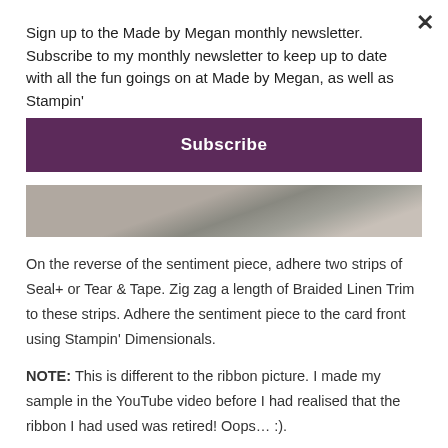Sign up to the Made by Megan monthly newsletter. Subscribe to my monthly newsletter to keep up to date with all the fun goings on at Made by Megan, as well as Stampin'
Subscribe
[Figure (photo): Partial photo showing a black and white/grey crafting surface with diagonal lines, partially obscured by the overlay popup.]
On the reverse of the sentiment piece, adhere two strips of Seal+ or Tear & Tape. Zig zag a length of Braided Linen Trim to these strips. Adhere the sentiment piece to the card front using Stampin' Dimensionals.
NOTE: This is different to the ribbon picture. I made my sample in the YouTube video before I had realised that the ribbon I had used was retired! Oops… :).